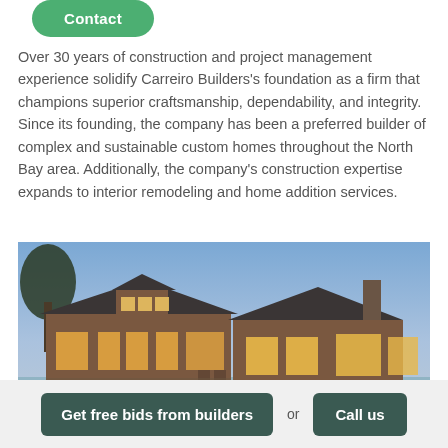[Figure (screenshot): Green rounded Contact button at top left]
Over 30 years of construction and project management experience solidify Carreiro Builders's foundation as a firm that champions superior craftsmanship, dependability, and integrity. Since its founding, the company has been a preferred builder of complex and sustainable custom homes throughout the North Bay area. Additionally, the company's construction expertise expands to interior remodeling and home addition services.
[Figure (photo): Exterior photo of a large custom home at dusk with warm interior lighting, featuring wood siding, multiple roof lines, a pool area, and surrounding trees against a blue evening sky.]
[Figure (screenshot): Bottom bar with two dark green buttons: 'Get free bids from builders' and 'Call us' separated by 'or' text]